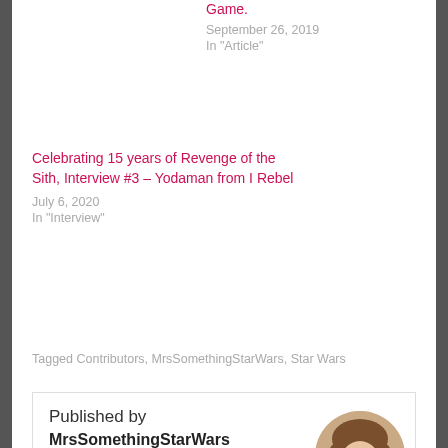Game.
September 26, 2019
In "Article"
Celebrating 15 years of Revenge of the Sith, Interview #3 – Yodaman from I Rebel
July 6, 2020
In "Interview"
Tagged Contributors, MrsSomethingStarWars, Star Wars
Published by
MrsSomethingStarWars
View all posts by MrsSomethingStarWars
[Figure (photo): Circular profile photo of a woman with brown hair]